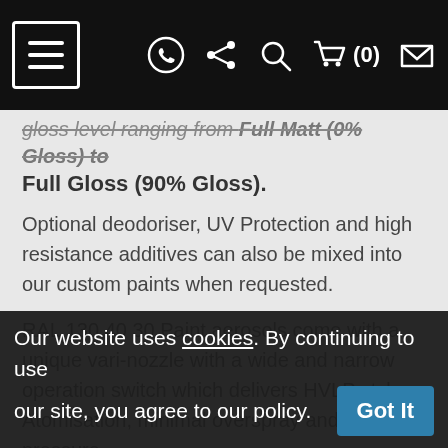[Navigation bar with menu, WhatsApp, share, search, cart (0), and envelope icons]
gloss level ranging from Full Matt (0% Gloss) to Full Gloss (90% Gloss).
Optional deodoriser, UV Protection and high resistance additives can also be mixed into our custom paints when requested.
RAL 130 40 30 Paint aerosols come with a unique vari-nozzle with a wide and narrow operation switch which delivers HVLP style Atomisation, minimal overspray and constant pressure.
Please note 2K paints are only avilabe as Acrylic Enamel:
Our website uses cookies. By continuing to use our site, you agree to our policy.  Got It